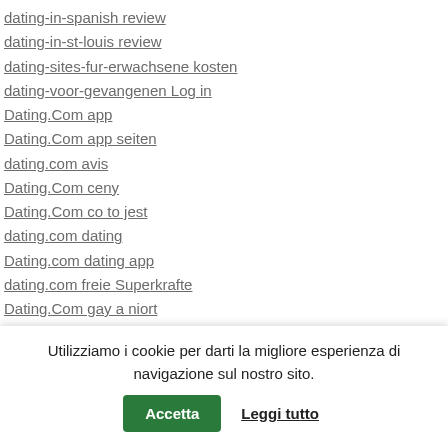dating-in-spanish review
dating-in-st-louis review
dating-sites-fur-erwachsene kosten
dating-voor-gevangenen Log in
Dating.Com app
Dating.Com app seiten
dating.com avis
Dating.Com ceny
Dating.Com co to jest
dating.com dating
Dating.com dating app
dating.com freie Superkrafte
Dating.Com gay a niort
dating.com gratuit
dating.com Internet
Utilizziamo i cookie per darti la migliore esperienza di navigazione sul nostro sito.
Accetta | Leggi tutto